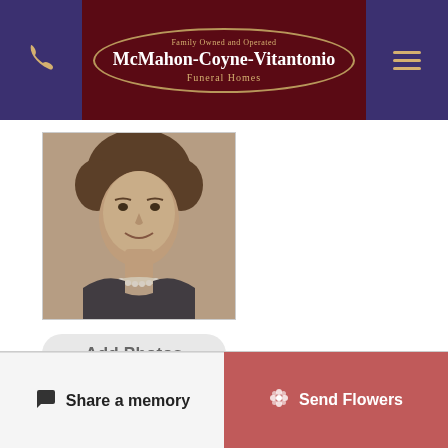McMahon-Coyne-Vitantonio Funeral Homes
[Figure (photo): Vintage sepia-toned portrait photograph of a middle-aged woman with short curly hair wearing a dark top and pearl necklace, smiling]
Add Photos
Upload up to 10 images at a time, max 8MB each
Share a memory
Send Flowers